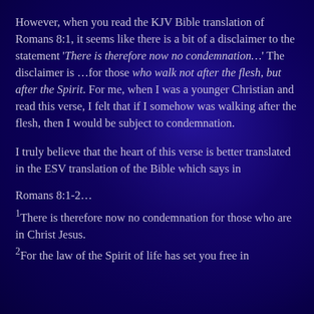However, when you read the KJV Bible translation of Romans 8:1, it seems like there is a bit of a disclaimer to the statement 'There is therefore now no condemnation…' The disclaimer is …for those who walk not after the flesh, but after the Spirit. For me, when I was a younger Christian and read this verse, I felt that if I somehow was walking after the flesh, then I would be subject to condemnation.
I truly believe that the heart of this verse is better translated in the ESV translation of the Bible which says in
Romans 8:1-2…
1There is therefore now no condemnation for those who are in Christ Jesus.
2For the law of the Spirit of life has set you free in